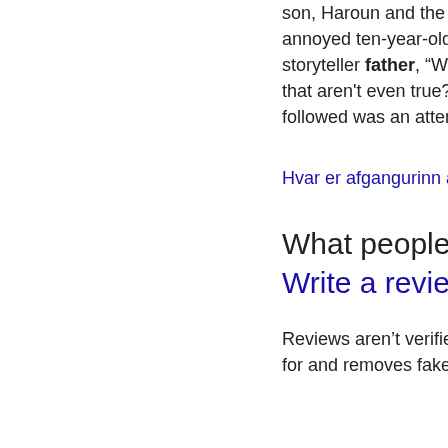son, Haroun and the Sea of Stories, an annoyed ten-year-old boy shouts at his storyteller father, “What’s the use of stories that aren't even true?” The book that followed was an attempt to …
Næsta »
Hvar er afgangurinn af bókinni?
What people are saying - Write a review
Reviews aren’t verified, but Google checks for and removes fake content when it’s